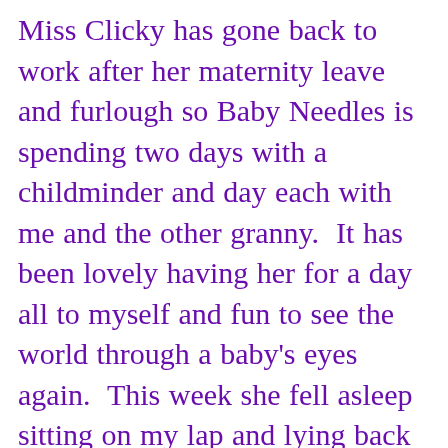Miss Clicky has gone back to work after her maternity leave and furlough so Baby Needles is spending two days with a childminder and day each with me and the other granny.  It has been lovely having her for a day all to myself and fun to see the world through a baby's eyes again.  This week she fell asleep sitting on my lap and lying back on my hands while I sang two renditions of "My Ship Sails to China' and was out like light for 1 1/2 hours.  Miss Clicky complained that 'She won't do that for me!'  I told her she doesn't have the granny touch!